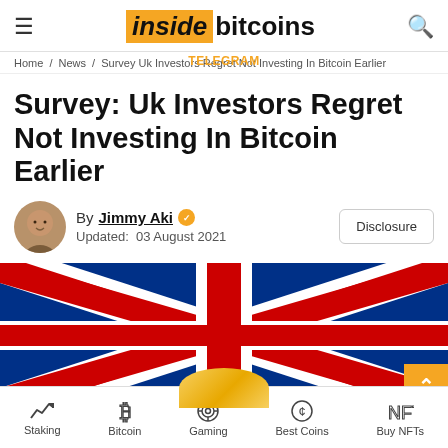inside bitcoins
Home / News / Survey Uk Investors Regret Not Investing In Bitcoin Earlier
Survey: Uk Investors Regret Not Investing In Bitcoin Earlier
By Jimmy Aki  Updated: 03 August 2021
[Figure (photo): UK Union Jack flag banner image]
Staking  Bitcoin  Gaming  Best Coins  Buy NFTs